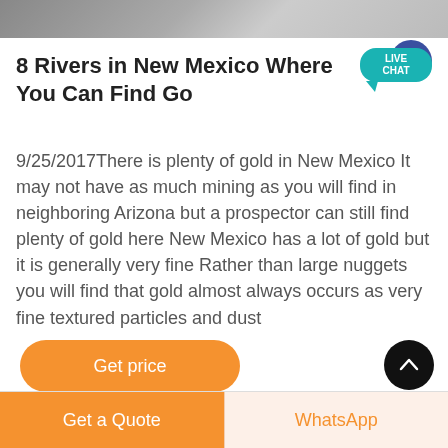[Figure (photo): Top portion of a photo, showing a dark object against a light/grey background, cropped at the top of the page.]
8 Rivers in New Mexico Where You Can Find Go[ld]
[Figure (other): Live Chat speech bubble UI widget with teal badge reading LIVE CHAT and a dark blue circle behind it.]
9/25/2017There is plenty of gold in New Mexico It may not have as much mining as you will find in neighboring Arizona but a prospector can still find plenty of gold here New Mexico has a lot of gold but it is generally very fine Rather than large nuggets you will find that gold almost always occurs as very fine textured particles and dust
[Figure (other): Orange rounded rectangle button labeled 'Get price']
[Figure (other): Black circular scroll-to-top button with upward chevron]
Get a Quote   WhatsApp